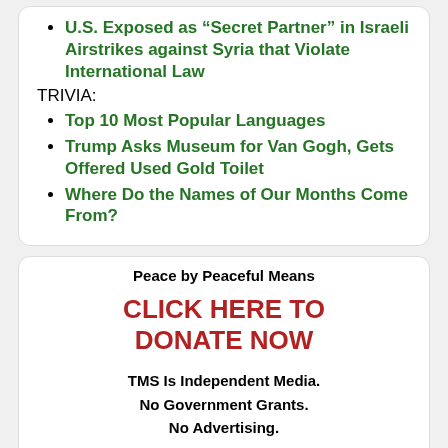U.S. Exposed as “Secret Partner” in Israeli Airstrikes against Syria that Violate International Law
TRIVIA:
Top 10 Most Popular Languages
Trump Asks Museum for Van Gogh, Gets Offered Used Gold Toilet
Where Do the Names of Our Months Come From?
Peace by Peaceful Means
CLICK HERE TO DONATE NOW
TMS Is Independent Media.
No Government Grants.
No Advertising.
List of TMS Supporters — Make Your Pledge!
2022, Week 36
05 Sep - 11 Sep